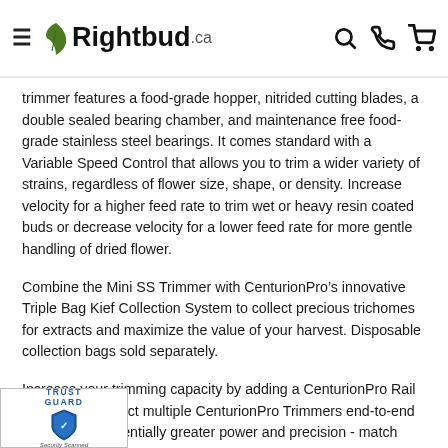Rightbud.ca
trimmer features a food-grade hopper, nitrided cutting blades, a double sealed bearing chamber, and maintenance free food-grade stainless steel bearings. It comes standard with a Variable Speed Control that allows you to trim a wider variety of strains, regardless of flower size, shape, or density. Increase velocity for a higher feed rate to trim wet or heavy resin coated buds or decrease velocity for a lower feed rate for more gentle handling of dried flower.
Combine the Mini SS Trimmer with CenturionPro’s innovative Triple Bag Kief Collection System to collect precious trichomes for extracts and maximize the value of your harvest. Disposable collection bags sold separately.
Increase your trimming capacity by adding a CenturionPro Rail System to connect multiple CenturionPro Trimmers end-to-end to deliver exponentially greater power and precision - match your grow size to your throughput and increase capacity as you r operation. CenturionPro Rail Systems allow
[Figure (logo): Trust Guard Security Scanned badge with shield icon]